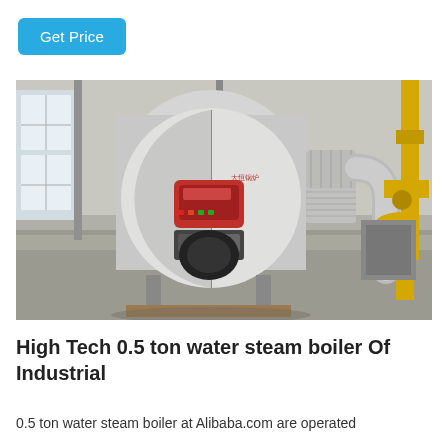Get Price
[Figure (photo): Industrial steam boiler in a warehouse/factory setting. A large cylindrical horizontal boiler with white and gray exterior and a prominent circular front face. A red burner unit is mounted at the front center. Yellow gas pipes are visible on the right side. Insulated exhaust ducts/pipes are connected. The boiler is on a wooden pallet in a concrete-floored industrial building with natural light from windows on the left.]
High Tech 0.5 ton water steam boiler Of Industrial
0.5 ton water steam boiler at Alibaba.com are operated